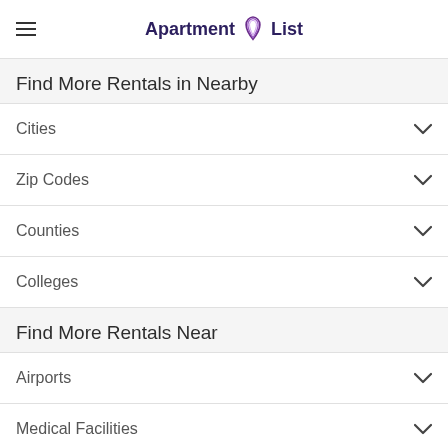Apartment List
Find More Rentals in Nearby
Cities
Zip Codes
Counties
Colleges
Find More Rentals Near
Airports
Medical Facilities